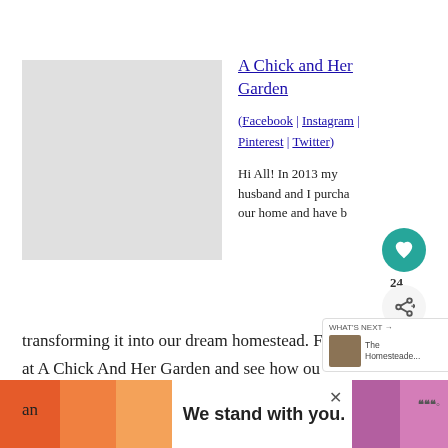[Figure (photo): Light gray placeholder image box]
A Chick and Her Garden
(Facebook | Instagram | Pinterest | Twitter)
Hi All! In 2013 my husband and I purcha... our home and have b... transforming it into our dream homestead. Follow along at A Chick And Her Garden and see how ou... of heaven grows. I'll be sharing our experiences,
[Figure (screenshot): Heart/like button (teal circle, heart icon) with count 24, and share button below]
[Figure (screenshot): What's Next overlay with thumbnail and label 'The Homesteade...']
[Figure (screenshot): Advertisement banner: We stand with you. with orange and purple gradient stripes]